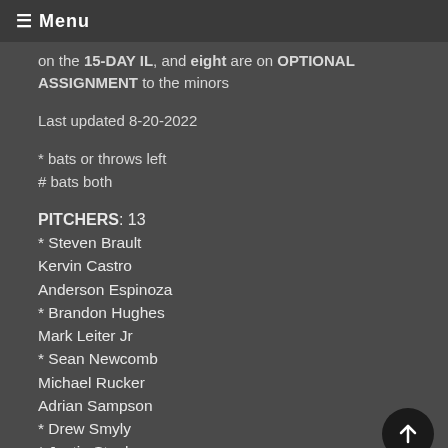≡ Menu
on the 15-DAY IL, and eight are on OPTIONAL ASSIGNMENT to the minors
Last updated 8-20-2022
* bats or throws left
# bats both
PITCHERS: 13
* Steven Brault
Kervin Castro
Anderson Espinoza
* Brandon Hughes
Mark Leiter Jr
* Sean Newcomb
Michael Rucker
Adrian Sampson
* Drew Smyly
* Justin Steele